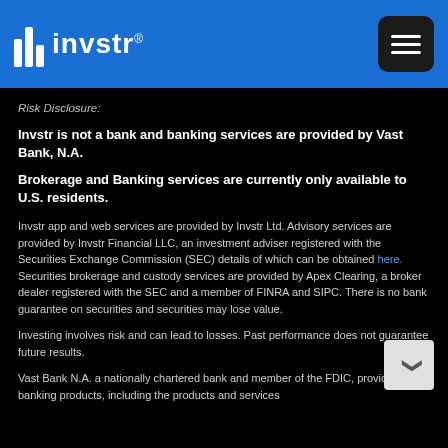[Figure (logo): Invstr logo with white bar chart icon and white wordmark 'invstr' on blue header background]
Risk Disclosure:
Invstr is not a bank and banking services are provided by Vast Bank, N.A.
Brokerage and Banking services are currently only available to U.S. residents.
Invstr app and web services are provided by Invstr Ltd. Advisory services are provided by Invstr Financial LLC, an investment adviser registered with the Securities Exchange Commission (SEC) details of which can be obtained here. Securities brokerage and custody services are provided by Apex Clearing, a broker dealer registered with the SEC and a member of FINRA and SIPC. There is no bank guarantee on securities and securities may lose value.
Investing involves risk and can lead to losses. Past performance does not guarantee future results.
Vast Bank N.A. a nationally chartered bank and member of the FDIC, provides the banking products, including the products and services